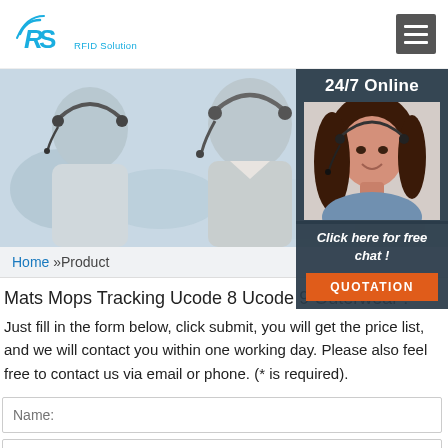RS RFID Solution
[Figure (photo): Call center / customer support agents wearing headsets, blurred background. Right side shows a 24/7 Online panel with a smiling female support agent photo.]
Click here for free chat !
QUOTATION
Home »Product
Mats Mops Tracking Ucode 8 Ucode 9 Outerwear :
Just fill in the form below, click submit, you will get the price list, and we will contact you within one working day. Please also feel free to contact us via email or phone. (* is required).
Name: